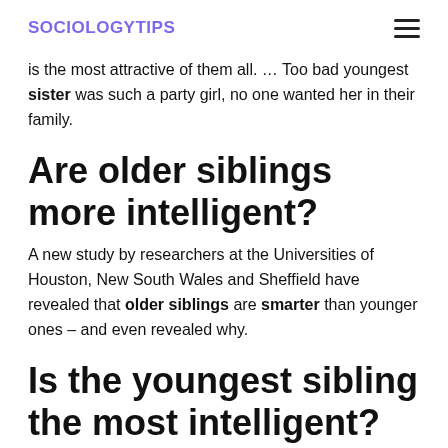SOCIOLOGYTIPS
is the most attractive of them all. … Too bad youngest sister was such a party girl, no one wanted her in their family.
Are older siblings more intelligent?
A new study by researchers at the Universities of Houston, New South Wales and Sheffield have revealed that older siblings are smarter than younger ones – and even revealed why.
Is the youngest sibling the most intelligent?